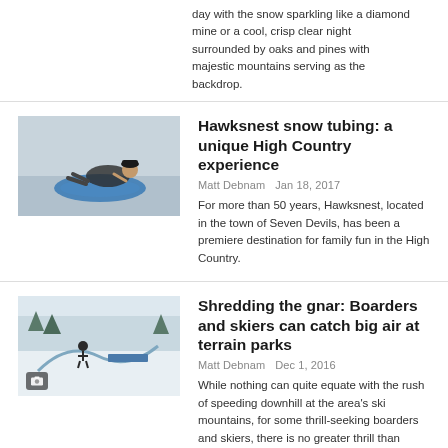day with the snow sparkling like a diamond mine or a cool, crisp clear night surrounded by oaks and pines with majestic mountains serving as the backdrop.
[Figure (photo): Person tubing down a snow slope, lying back on a tube]
Hawksnest snow tubing: a unique High Country experience
Matt Debnam   Jan 18, 2017
For more than 50 years, Hawksnest, located in the town of Seven Devils, has been a premiere destination for family fun in the High Country.
[Figure (photo): Snow terrain park with skiers and boarders, camera icon overlay]
Shredding the gnar: Boarders and skiers can catch big air at terrain parks
Matt Debnam   Dec 1, 2016
While nothing can quite equate with the rush of speeding downhill at the area's ski mountains, for some thrill-seeking boarders and skiers, there is no greater thrill than catching big air and sticking sweet tricks on the specialized elements of terrain parks.